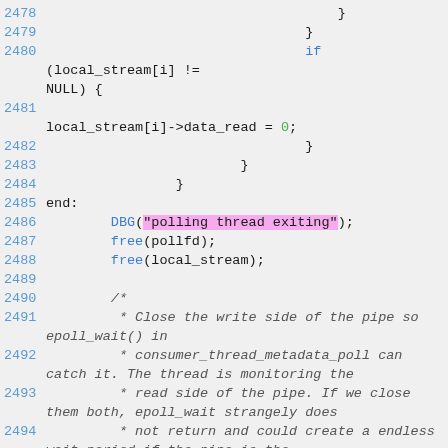[Figure (screenshot): Source code listing lines 2478-2495 showing C code for a polling thread with cleanup and pipe management comments.]